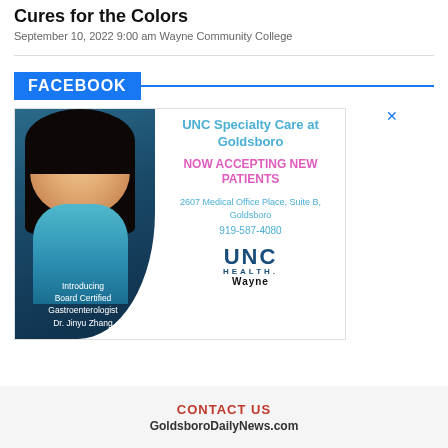Cures for the Colors
September 10, 2022 9:00 am Wayne Community College
FACEBOOK
[Figure (photo): UNC Specialty Care at Goldsboro advertisement featuring Dr. Jinyu Zhang, a Board Certified Gastroenterologist. NOW ACCEPTING NEW PATIENTS. 2607 Medical Office Place, Suite B, Goldsboro. 919-587-4080. UNC Health Wayne logo.]
CONTACT US
GoldsboroDailyNews.com